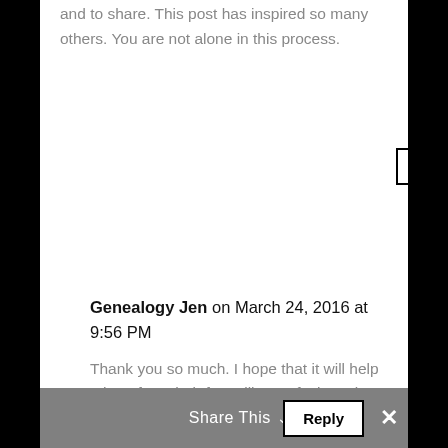and to share. This post has inspired so many others. You are not alone in this process.
Reply
Genealogy Jen on March 24, 2016 at 9:56 PM
Thank you so much. I hope that it will help others face their fears like I'm facing mine.
Reply
arwenlouise on March 24, 2016 at 10:29 AM
Just wow
Share This
Reply